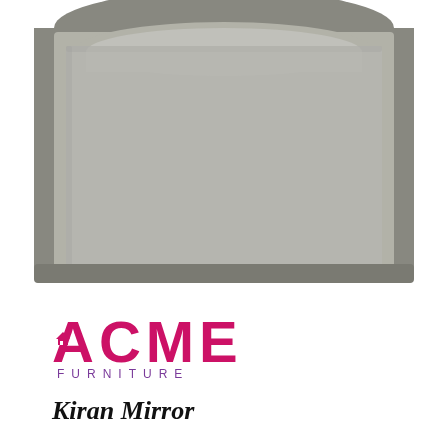[Figure (photo): A decorative mirror with a gray/taupe wooden frame. The frame has an arched top design and surrounds a large rectangular mirror glass. The overall shape is wide and rectangular with a curved arch at the top center of the frame.]
[Figure (logo): ACME Furniture logo. The word ACME is displayed in large pink/magenta letters with a small house icon replacing the A's crossbar or appearing as part of the design. Below ACME, the word FURNITURE appears in smaller purple spaced letters.]
Kiran Mirror